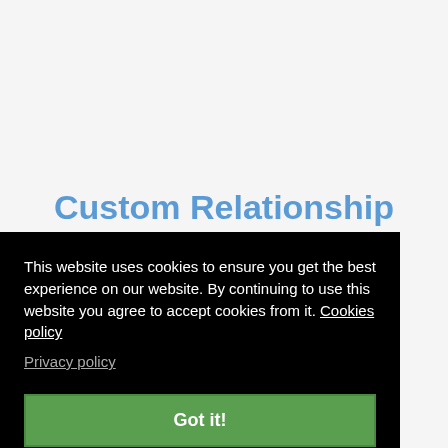Custom Relationship
This website uses cookies to ensure you get the best experience on our website. By continuing to use this website you agree to accept cookies from it. Cookies policy
Privacy policy
Got it!